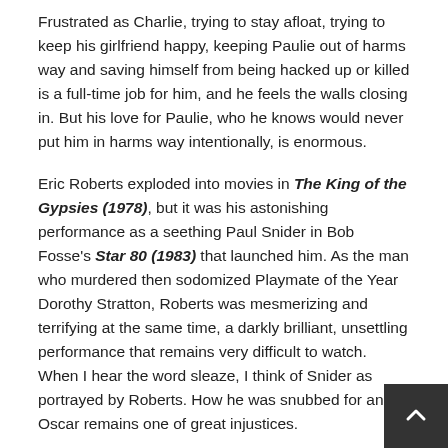Frustrated as Charlie, trying to stay afloat, trying to keep his girlfriend happy, keeping Paulie out of harms way and saving himself from being hacked up or killed is a full-time job for him, and he feels the walls closing in. But his love for Paulie, who he knows would never put him in harms way intentionally, is enormous.
Eric Roberts exploded into movies in The King of the Gypsies (1978), but it was his astonishing performance as a seething Paul Snider in Bob Fosse's Star 80 (1983) that launched him. As the man who murdered then sodomized Playmate of the Year Dorothy Stratton, Roberts was mesmerizing and terrifying at the same time, a darkly brilliant, unsettling performance that remains very difficult to watch.  When I hear the word sleaze, I think of Snider as portrayed by Roberts. How he was snubbed for an Oscar remains one of great injustices.
As Paulie he was electrifying, always in motion, always talking, his mind never ceasing to scheme. Mortified when accused of hurting Charlie, he accepts no responsibility for anything that goes wrong, it is always someone elses fault. Yet he is possessed with a